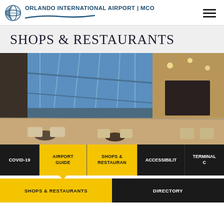ORLANDO INTERNATIONAL AIRPORT | MCO
SHOPS & RESTAURANTS
[Figure (photo): Interior of an upscale airport restaurant with floor-to-ceiling glass windows overlooking the tarmac, elegant dining tables and chairs, pendant lights hanging from the ceiling, and warm wood accents.]
COVID-19 | AIRPORT GUIDE | SHOPS & RESTAURANTS | ACCESSIBILITY | TERMINAL C
SHOPS & RESTAURANTS | DIRECTORY